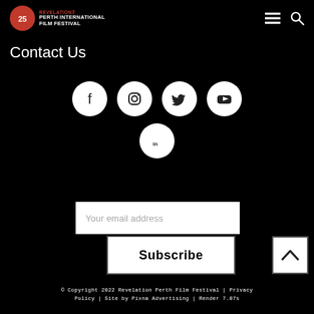Revelation Perth International Film Festival
Contact Us
[Figure (infographic): Social media icon circles: Facebook, Instagram, Twitter, YouTube (top row), LinkedIn (bottom center)]
Your email address
Subscribe
© Copyright 2022 Revelation Perth Film Festival | Privacy Policy | Site by Pixna Advertising | Render 7.07s